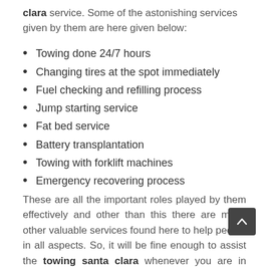clara service. Some of the astonishing services given by them are here given below:
Towing done 24/7 hours
Changing tires at the spot immediately
Fuel checking and refilling process
Jump starting service
Fat bed service
Battery transplantation
Towing with forklift machines
Emergency recovering process
These are all the important roles played by them effectively and other than this there are many other valuable services found here to help people in all aspects. So, it will be fine enough to assist the towing santa clara whenever you are in need.